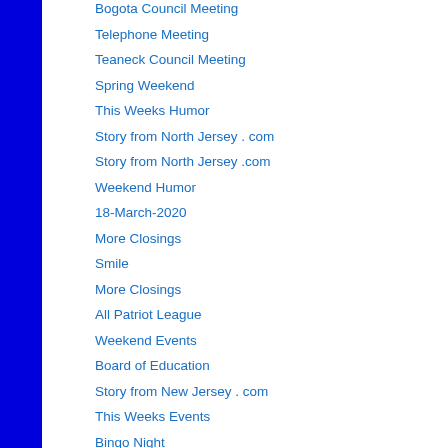Bogota Council Meeting
Telephone Meeting
Teaneck Council Meeting
Spring Weekend
This Weeks Humor
Story from North Jersey . com
Story from North Jersey .com
Weekend Humor
18-March-2020
More Closings
Smile
More Closings
All Patriot League
Weekend Events
Board of Education
Story from New Jersey . com
This Weeks Events
Bingo Night
Health Guidelines
Story from North Jersey .com